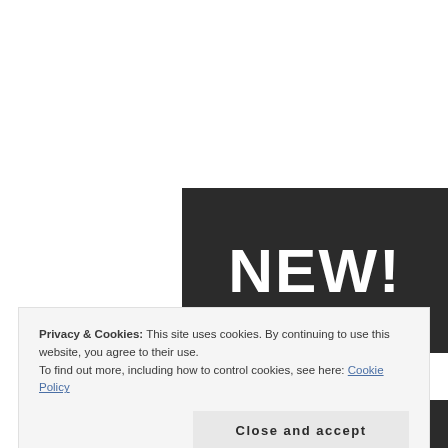[Figure (screenshot): Dark banner with bold white text reading 'NEW!' on a near-black background]
Privacy & Cookies: This site uses cookies. By continuing to use this website, you agree to their use.
To find out more, including how to control cookies, see here: Cookie Policy
Close and accept
[Figure (screenshot): Dark banner with bold white partial text reading 'PRU9' on a near-black background (bottom, partially visible)]